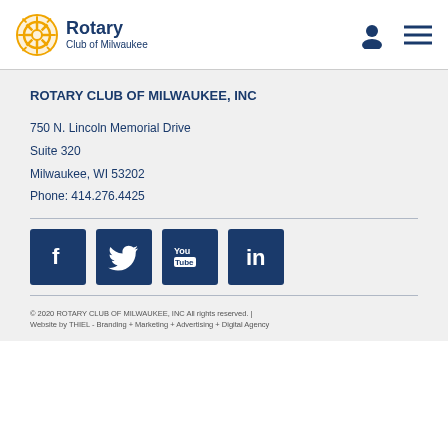[Figure (logo): Rotary Club of Milwaukee logo with Rotary wheel icon and text 'Rotary / Club of Milwaukee']
[Figure (other): User account icon and hamburger menu icon in header]
ROTARY CLUB OF MILWAUKEE, INC
750 N. Lincoln Memorial Drive
Suite 320
Milwaukee, WI 53202
Phone: 414.276.4425
[Figure (other): Social media icons: Facebook, Twitter, YouTube, LinkedIn — all on dark blue square backgrounds]
© 2020 ROTARY CLUB OF MILWAUKEE, INC All rights reserved. | Website by THIEL - Branding + Marketing + Advertising + Digital Agency